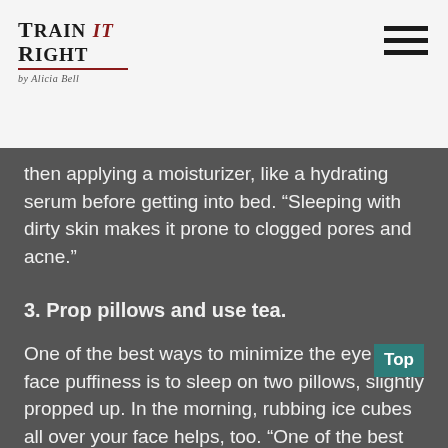Train It Right by Alicia Bell
then applying a moisturizer, like a hydrating serum before getting into bed. “Sleeping with dirty skin makes it prone to clogged pores and acne.”
3. Prop pillows and use tea.
One of the best ways to minimize the eye and face puffiness is to sleep on two pillows, slightly propped up. In the morning, rubbing ice cubes all over your face helps, too. “One of the best ways to deflate eye puffiness and reduce the redness is to place cold tea